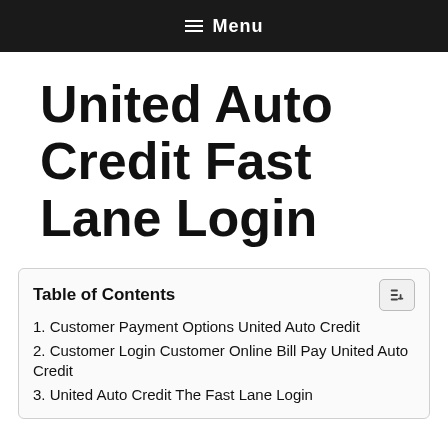≡ Menu
United Auto Credit Fast Lane Login
Table of Contents
1. Customer Payment Options United Auto Credit
2. Customer Login Customer Online Bill Pay United Auto Credit
3. United Auto Credit The Fast Lane Login